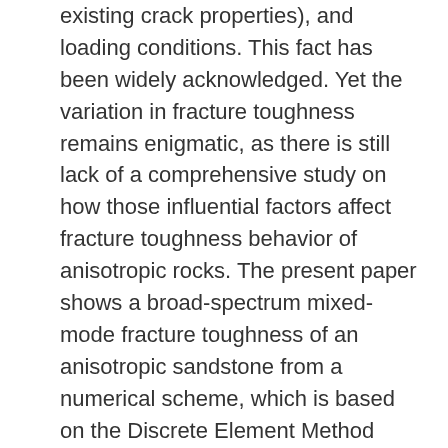existing crack properties), and loading conditions. This fact has been widely acknowledged. Yet the variation in fracture toughness remains enigmatic, as there is still lack of a comprehensive study on how those influential factors affect fracture toughness behavior of anisotropic rocks. The present paper shows a broad-spectrum mixed-mode fracture toughness of an anisotropic sandstone from a numerical scheme, which is based on the Discrete Element Method (DEM). In this study, a total of 340 semi-circular bend (SCB) specimens with various geological and geometrical conditions were numerically prepared by systemically varying the orientations of planar anisotropy (i.e. incipient bedding plane), as well as the magnitudes of the ISRM-suggested geometrical parameters of the SCB specimens (i.e. crack length, crack angle, and span length). The numerical model used in the study was calibrated against a series of laboratory experiments